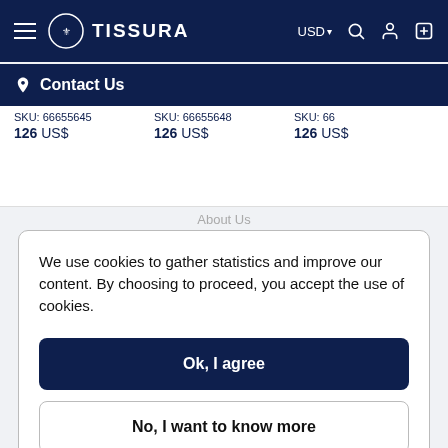TISSURA — USD navigation header with hamburger menu, logo, search, account, and cart icons
Contact Us
SKU: 66655645  126 US$    SKU: 66655648  126 US$    SKU: 66...  126 US$
About Us
We use cookies to gather statistics and improve our content. By choosing to proceed, you accept the use of cookies.
Ok, I agree
No, I want to know more
Contact Us